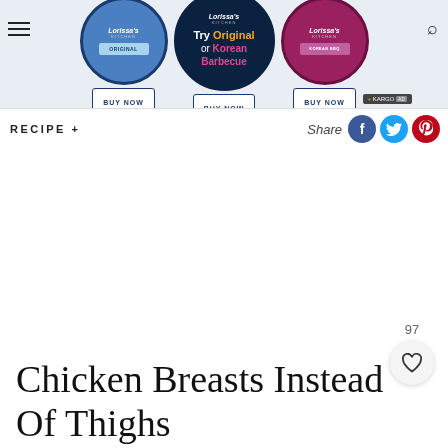[Figure (screenshot): Advertisement banner for Lorissa's Kitchen showing three circular product images with 'BUY NOW' buttons and text 'Try Original or Korean Barbecue'. Kargo Ad badge visible at bottom right.]
RECIPE +
Share
97
Chicken Breasts Instead Of Thighs